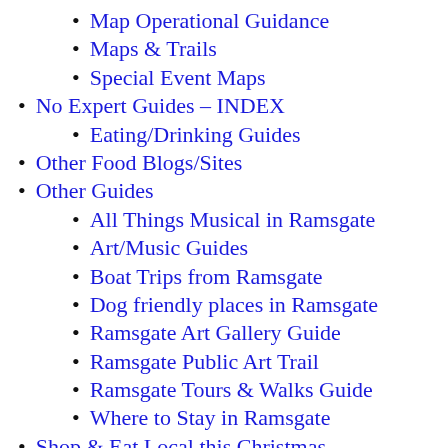Map Operational Guidance
Maps & Trails
Special Event Maps
No Expert Guides – INDEX
Eating/Drinking Guides
Other Food Blogs/Sites
Other Guides
All Things Musical in Ramsgate
Art/Music Guides
Boat Trips from Ramsgate
Dog friendly places in Ramsgate
Ramsgate Art Gallery Guide
Ramsgate Public Art Trail
Ramsgate Tours & Walks Guide
Where to Stay in Ramsgate
Shop & Eat Local this Christmas